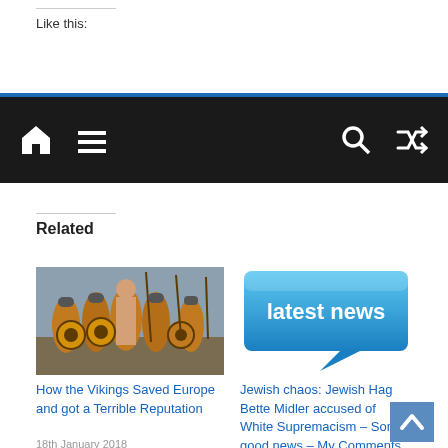Like this:
Navigation bar with home, menu, search, and shuffle icons
Related
[Figure (photo): Group of Viking warriors with shields and weapons]
How the Vikings Saved Europe and got a Terrible Reputation
18th January 2018
In "Articles"
[Figure (illustration): Blue speech bubble graphic with text 'latest news']
Jewish chaos: Jewish Hag Bette Midler accused of White Supremacism – Some good news – My Comments